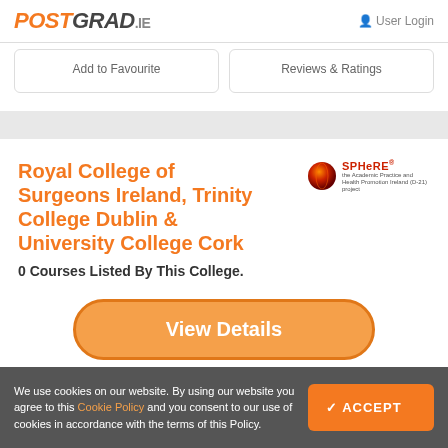POSTGRAD.IE  User Login
Add to Favourite
Reviews & Ratings
Royal College of Surgeons Ireland, Trinity College Dublin & University College Cork
0 Courses Listed By This College.
View Details
We use cookies on our website. By using our website you agree to this Cookie Policy and you consent to our use of cookies in accordance with the terms of this Policy.